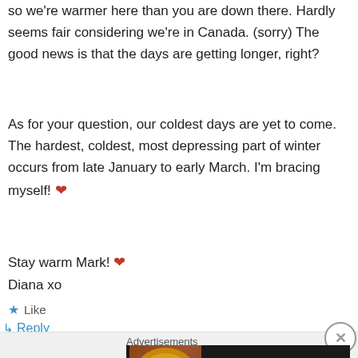...so we're warmer here than you are down there. Hardly seems fair considering we're in Canada. (sorry) The good news is that the days are getting longer, right?
As for your question, our coldest days are yet to come. The hardest, coldest, most depressing part of winter occurs from late January to early March. I'm bracing myself! ❤
Stay warm Mark! ❤
Diana xo
★ Like
↳ Reply
Advertisements
[Figure (other): Seamless food delivery advertisement banner showing pizza image on left, Seamless red logo in center, and ORDER NOW button on right, on dark background]